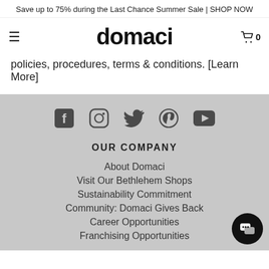Save up to 75% during the Last Chance Summer Sale | SHOP NOW
domaci
policies, procedures, terms & conditions. [Learn More]
[Figure (infographic): Social media icons row: Facebook, Instagram, Twitter, Pinterest, YouTube]
OUR COMPANY
About Domaci
Visit Our Bethlehem Shops
Sustainability Commitment
Community: Domaci Gives Back
Career Opportunities
Franchising Opportunities